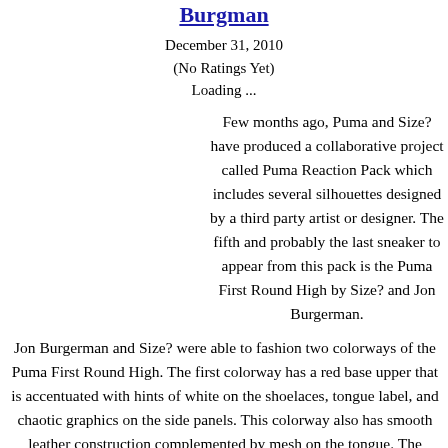Burgman
December 31, 2010
(No Ratings Yet)
Loading ...
Few months ago, Puma and Size? have produced a collaborative project called Puma Reaction Pack which includes several silhouettes designed by a third party artist or designer. The fifth and probably the last sneaker to appear from this pack is the Puma First Round High by Size? and Jon Burgerman.
Jon Burgerman and Size? were able to fashion two colorways of the Puma First Round High. The first colorway has a red base upper that is accentuated with hints of white on the shoelaces, tongue label, and chaotic graphics on the side panels. This colorway also has smooth leather construction complemented by mesh on the tongue. The second pair features a